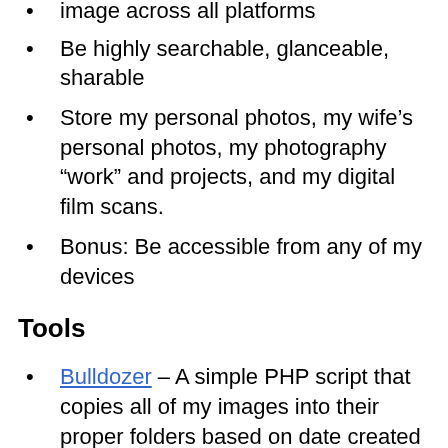image across all platforms
Be highly searchable, glanceable, sharable
Store my personal photos, my wife’s personal photos, my photography “work” and projects, and my digital film scans.
Bonus: Be accessible from any of my devices
Tools
Bulldozer – A simple PHP script that copies all of my images into their proper folders based on date created
SetEXIFData – an app to set the date